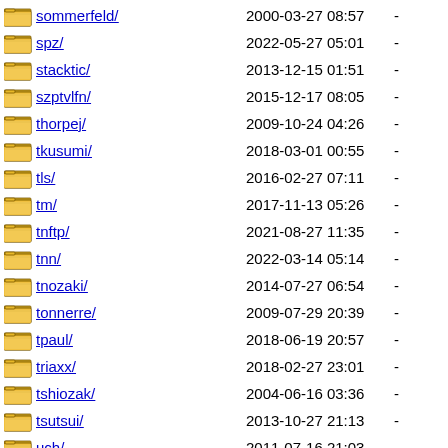sommerfeld/  2000-03-27 08:57  -
spz/  2022-05-27 05:01  -
stacktic/  2013-12-15 01:51  -
szptvlfn/  2015-12-17 08:05  -
thorpej/  2009-10-24 04:26  -
tkusumi/  2018-03-01 00:55  -
tls/  2016-02-27 07:11  -
tm/  2017-11-13 05:26  -
tnftp/  2021-08-27 11:35  -
tnn/  2022-03-14 05:14  -
tnozaki/  2014-07-27 06:54  -
tonnerre/  2009-07-29 20:39  -
tpaul/  2018-06-19 20:57  -
triaxx/  2018-02-27 23:01  -
tshiozak/  2004-06-16 03:36  -
tsutsui/  2013-10-27 21:13  -
uch/  2011-07-16 21:03  -